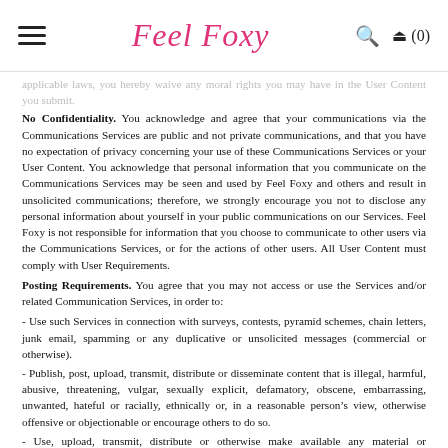Feel Foxy
applicable laws, you hereby waive any moral rights you may have in the User Content you submit.
No Confidentiality. You acknowledge and agree that your communications via the Communications Services are public and not private communications, and that you have no expectation of privacy concerning your use of these Communications Services or your User Content. You acknowledge that personal information that you communicate on the Communications Services may be seen and used by Feel Foxy and others and result in unsolicited communications; therefore, we strongly encourage you not to disclose any personal information about yourself in your public communications on our Services. Feel Foxy is not responsible for information that you choose to communicate to other users via the Communications Services, or for the actions of other users. All User Content must comply with User Requirements.
Posting Requirements. You agree that you may not access or use the Services and/or related Communication Services, in order to:
- Use such Services in connection with surveys, contests, pyramid schemes, chain letters, junk email, spamming or any duplicative or unsolicited messages (commercial or otherwise).
- Publish, post, upload, transmit, distribute or disseminate content that is illegal, harmful, abusive, threatening, vulgar, sexually explicit, defamatory, obscene, embarrassing, unwanted, hateful or racially, ethnically or, in a reasonable person’s view, otherwise offensive or objectionable or encourage others to do so.
- Use, upload, transmit, distribute or otherwise make available any material or information, which contain any materials that could infringe any copyright, trademark, patent, trade secret, publicity or privacy right or any other proprietary right or disclose any trade secret of or violate any confidential obligation of any person or entity unless you have first received permission